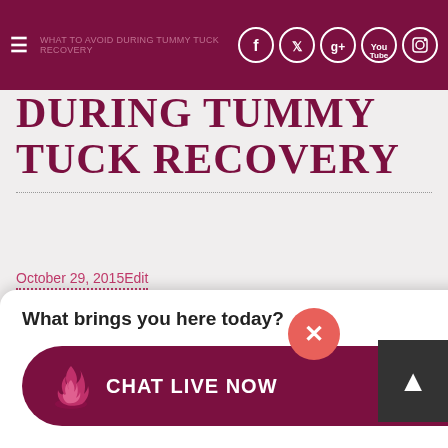Social media icons: Facebook, Twitter, Google+, YouTube, Instagram
DURING TUMMY TUCK RECOVERY
October 29, 2015Edit
For most patients complete tummy tuck recovery—i.e., getting back their preoperative energy level—takes six to eight weeks. It is important that during the initial healing stage they avoid activities that can pull on the abdominal stitches, lead to increased heart rate, and anything that can compromise their healing.
...ck Smaili explains ...mmy tuck
What brings you here today?
CHAT LIVE NOW